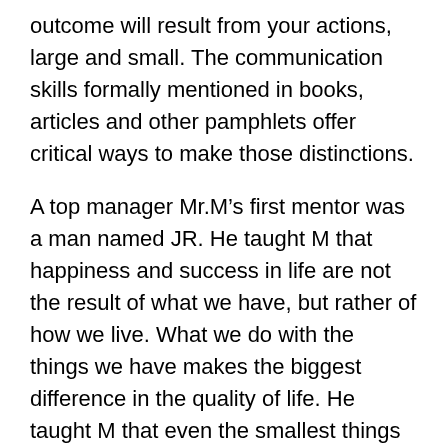outcome will result from your actions, large and small. The communication skills formally mentioned in books, articles and other pamphlets offer critical ways to make those distinctions.
A top manager Mr.M's first mentor was a man named JR. He taught M that happiness and success in life are not the result of what we have, but rather of how we live. What we do with the things we have makes the biggest difference in the quality of life. He taught M that even the smallest things could make big differences in life. For instance, JR told M to always be a two-quarter person. JR gave the example of a shoeshine. Let's say the shoeshine man is doing a great job. He is whistling and snapping his shoeshine rag. He is giving you great value. JR said when you dip into your pocket to tip him, and you're not sure